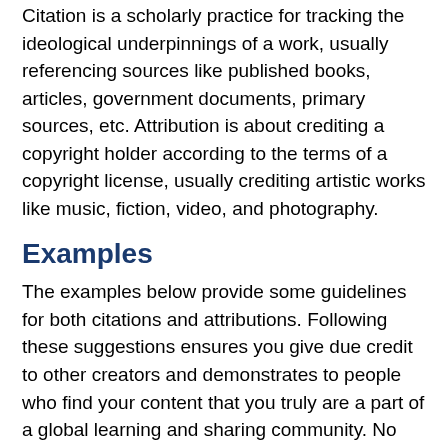Citation is a scholarly practice for tracking the ideological underpinnings of a work, usually referencing sources like published books, articles, government documents, primary sources, etc. Attribution is about crediting a copyright holder according to the terms of a copyright license, usually crediting artistic works like music, fiction, video, and photography.
Examples
The examples below provide some guidelines for both citations and attributions. Following these suggestions ensures you give due credit to other creators and demonstrates to people who find your content that you truly are a part of a global learning and sharing community. No matter the content, make